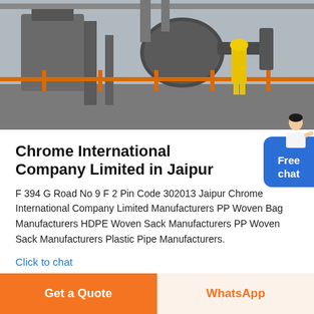[Figure (photo): Industrial facility photo showing heavy machinery, large tanks, pipes, and a worker in a yellow hard hat and yellow overalls standing on an elevated platform with orange metal railings.]
Chrome International Company Limited in Jaipur
F 394 G Road No 9 F 2 Pin Code 302013 Jaipur Chrome International Company Limited Manufacturers PP Woven Bag Manufacturers HDPE Woven Sack Manufacturers PP Woven Sack Manufacturers Plastic Pipe Manufacturers.
Click to chat
Free chat
Get a Quote
WhatsApp